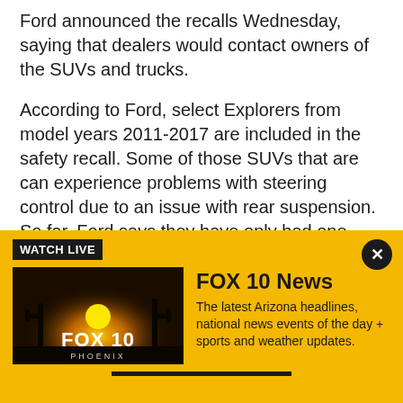Ford announced the recalls Wednesday, saying that dealers would contact owners of the SUVs and trucks.
According to Ford, select Explorers from model years 2011-2017 are included in the safety recall. Some of those SUVs that are can experience problems with steering control due to an issue with rear suspension. So far, Ford says they have only had one reported crash and no injuries reported.
The Explorers make up 1.2 million of the recalled vehicles and are all on the road in the U.S., Canada, and
[Figure (screenshot): FOX 10 News WATCH LIVE banner with golden yellow background, showing FOX 10 Phoenix logo image on the left and text 'FOX 10 News - The latest Arizona headlines, national news events of the day + sports and weather updates.' on the right. A close (X) button in the top right corner.]